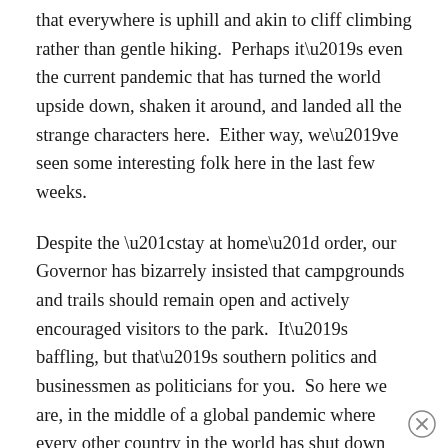that everywhere is uphill and akin to cliff climbing rather than gentle hiking.  Perhaps it's even the current pandemic that has turned the world upside down, shaken it around, and landed all the strange characters here.  Either way, we've seen some interesting folk here in the last few weeks.
Despite the “stay at home” order, our Governor has bizarrely insisted that campgrounds and trails should remain open and actively encouraged visitors to the park.  It’s baffling, but that’s southern politics and businessmen as politicians for you.  So here we are, in the middle of a global pandemic where every other country in the world has shut down non-essential travel, and Georgia is vacation central.